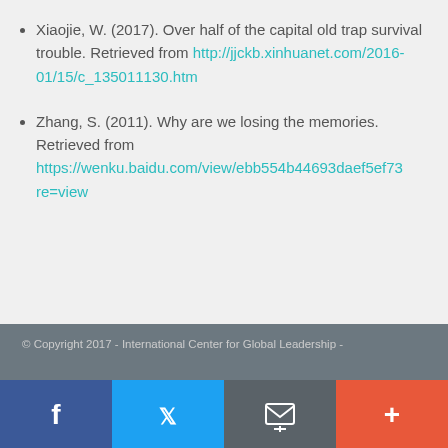Xiaojie, W. (2017). Over half of the capital old trap survival trouble. Retrieved from http://jjckb.xinhuanet.com/2016-01/15/c_135011130.htm
Zhang, S. (2011). Why are we losing the memories. Retrieved from https://wenku.baidu.com/view/ebb554b44693daef5ef73re=view
© Copyright 2017 - International Center for Global Leadership -